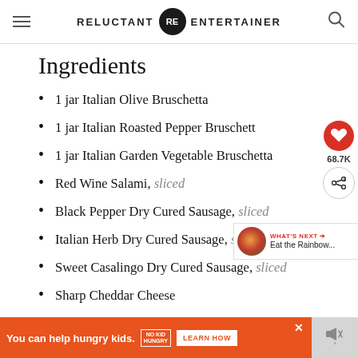RELUCTANT RE ENTERTAINER
Ingredients
1 jar Italian Olive Bruschetta
1 jar Italian Roasted Pepper Bruschett
1 jar Italian Garden Vegetable Bruschetta
Red Wine Salami, sliced
Black Pepper Dry Cured Sausage, sliced
Italian Herb Dry Cured Sausage, sliced
Sweet Casalingo Dry Cured Sausage, sliced
Sharp Cheddar Cheese
Soft cheese
You can help hungry kids. NO KID HUNGRY LEARN HOW